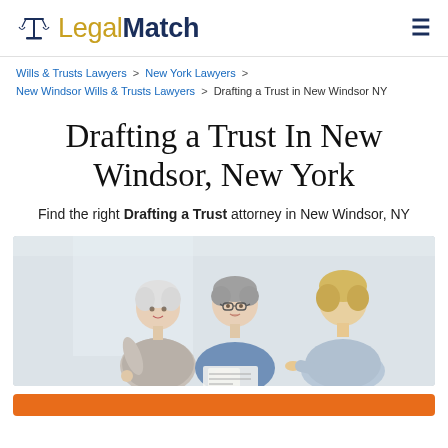LegalMatch
Wills & Trusts Lawyers > New York Lawyers > New Windsor Wills & Trusts Lawyers > Drafting a Trust in New Windsor NY
Drafting a Trust In New Windsor, New York
Find the right Drafting a Trust attorney in New Windsor, NY
[Figure (photo): Photo of two elderly people (a woman and a man) consulting with a younger female attorney or advisor, reviewing documents together in a bright office setting.]